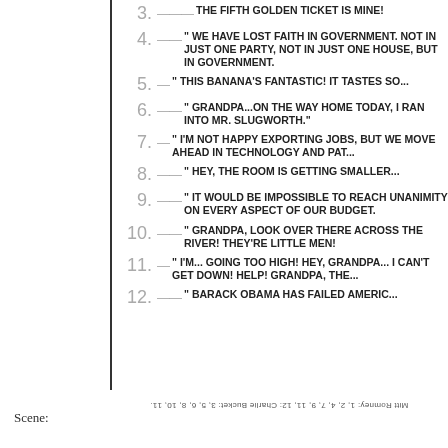3. THE FIFTH GOLDEN TICKET IS MINE!
4. "WE HAVE LOST FAITH IN GOVERNMENT. NOT IN JUST ONE PARTY, NOT IN JUST ONE HOUSE, BUT IN GOVERNMENT."
5. "THIS BANANA'S FANTASTIC! IT TASTES SO..."
6. "GRANDPA...ON THE WAY HOME TODAY, I RAN INTO MR. SLUGWORTH."
7. "I'M NOT HAPPY EXPORTING JOBS, BUT WE MOVE AHEAD IN TECHNOLOGY AND PATI..."
8. "HEY, THE ROOM IS GETTING SMALLER..."
9. "IT WOULD BE IMPOSSIBLE TO REACH UNANIMITY ON EVERY ASPECT OF OUR BUDGET."
10. "GRANDPA, LOOK OVER THERE ACROSS THE RIVER! THEY'RE LITTLE MEN!"
11. "I'M... GOING TOO HIGH! HEY, GRANDPA... I CAN'T GET DOWN! HELP! GRANDPA, THE..."
12. "BARACK OBAMA HAS FAILED AMERIC..."
MITT ROMNEY: 1, 2, 4, 7, 9, 11, 12: CHARLIE BUCKET: 3, 5, 6, 8, 10, 11.
Scene: